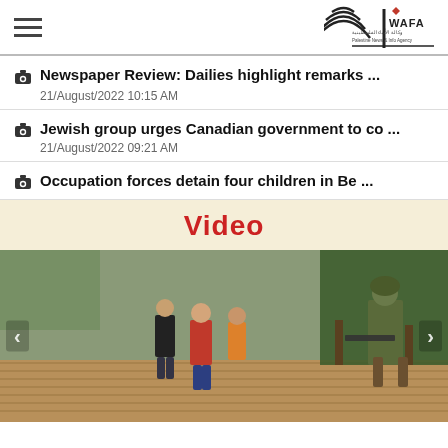[Figure (logo): WAFA Palestinian news agency logo with Arabic text, hamburger menu icon on left]
Newspaper Review: Dailies highlight remarks ...
21/August/2022 10:15 AM
Jewish group urges Canadian government to co ...
21/August/2022 09:21 AM
Occupation forces detain four children in Be ...
Video
[Figure (photo): Children walking on a wooden path/promenade with trees on the right, an armed soldier on the far right, left and right navigation arrows visible]